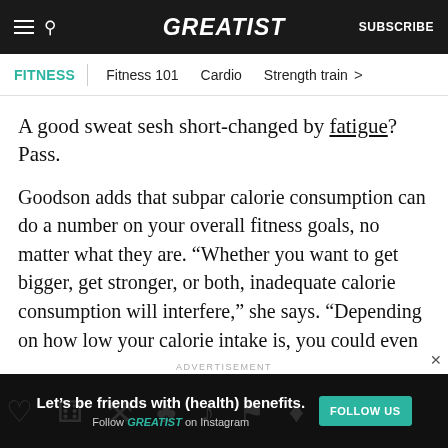GREATIST | SUBSCRIBE
FITNESS | Fitness 101  Cardio  Strength train >
A good sweat sesh short-changed by fatigue? Pass.
Goodson adds that subpar calorie consumption can do a number on your overall fitness goals, no matter what they are. “Whether you want to get bigger, get stronger, or both, inadequate calorie consumption will interfere,” she says. “Depending on how low your calorie intake is, you could even lose muscle mass and strength. And if you’re really
ADVERTISEMENT
Let’s be friends with (health) benefits. Follow GREATIST on Instagram  FOLLOW US